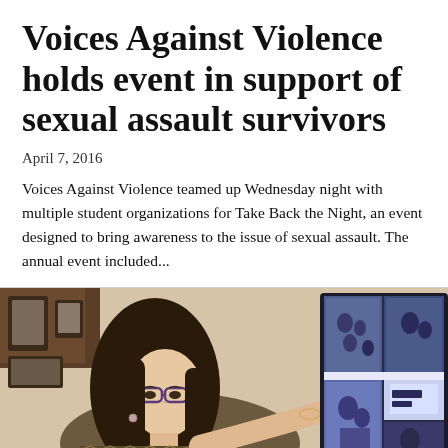Voices Against Violence holds event in support of sexual assault survivors
April 7, 2016
Voices Against Violence teamed up Wednesday night with multiple student organizations for Take Back the Night, an event designed to bring awareness to the issue of sexual assault. The annual event included...
[Figure (photo): A woman with dark hair and glasses pointing at a large monitor displaying blue-tinted images, in an office setting.]